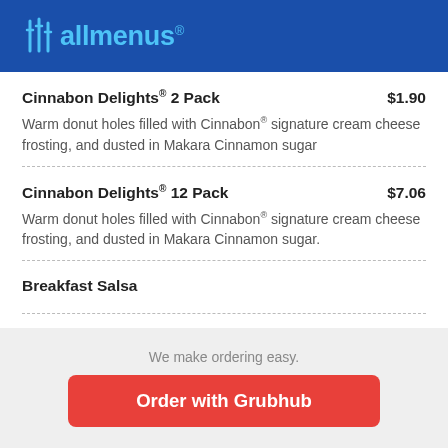allmenus
Cinnabon Delights® 2 Pack  $1.90
Warm donut holes filled with Cinnabon® signature cream cheese frosting, and dusted in Makara Cinnamon sugar
Cinnabon Delights® 12 Pack  $7.06
Warm donut holes filled with Cinnabon® signature cream cheese frosting, and dusted in Makara Cinnamon sugar.
Breakfast Salsa
We make ordering easy.
Order with Grubhub